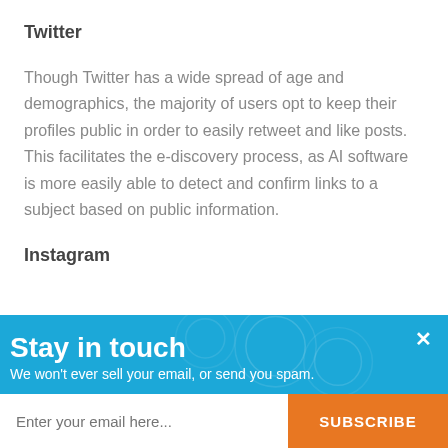Twitter
Though Twitter has a wide spread of age and demographics, the majority of users opt to keep their profiles public in order to easily retweet and like posts. This facilitates the e-discovery process, as AI software is more easily able to detect and confirm links to a subject based on public information.
Instagram
[Figure (infographic): Blue subscription popup overlay with 'Stay in touch' heading, subtext 'We won't ever sell your email, or send you spam.', an email input field and an orange SUBSCRIBE button, plus a close (x) button in the top right corner.]